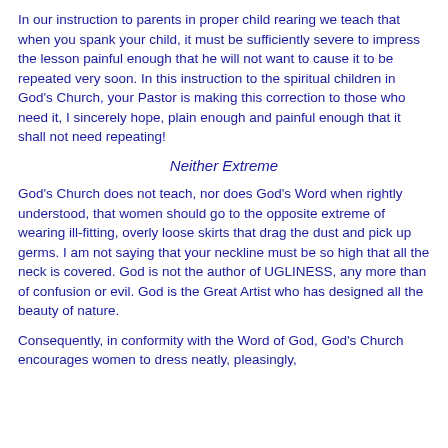In our instruction to parents in proper child rearing we teach that when you spank your child, it must be sufficiently severe to impress the lesson painful enough that he will not want to cause it to be repeated very soon. In this instruction to the spiritual children in God's Church, your Pastor is making this correction to those who need it, I sincerely hope, plain enough and painful enough that it shall not need repeating!
Neither Extreme
God's Church does not teach, nor does God's Word when rightly understood, that women should go to the opposite extreme of wearing ill-fitting, overly loose skirts that drag the dust and pick up germs. I am not saying that your neckline must be so high that all the neck is covered. God is not the author of UGLINESS, any more than of confusion or evil. God is the Great Artist who has designed all the beauty of nature.
Consequently, in conformity with the Word of God, God's Church encourages women to dress neatly, pleasingly,